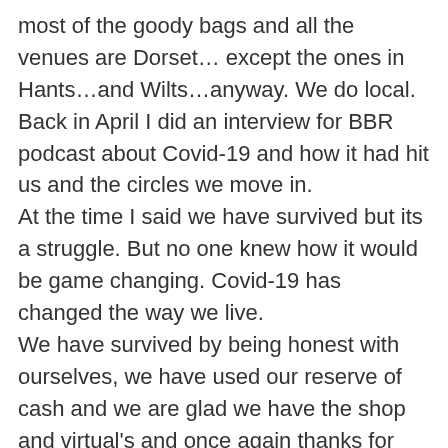most of the goody bags and all the venues are Dorset…except the ones in Hants…and Wilts…anyway. We do local. Back in April I did an interview for BBR podcast about Covid-19 and how it had hit us and the circles we move in. At the time I said we have survived but its a struggle. But no one knew how it would be game changing. Covid-19 has changed the way we live. We have survived by being honest with ourselves, we have used our reserve of cash and we are glad we have the shop and virtual's and once again thanks for entering those, I know the running world is full of virtual's. So as Nicola said 2 years of bills one year of income…. "Well just use all the entry for next year what's the problem?" We are about 6000 race entries down on what we expected for 2020….that's a lot of cash, add on to that the loss of